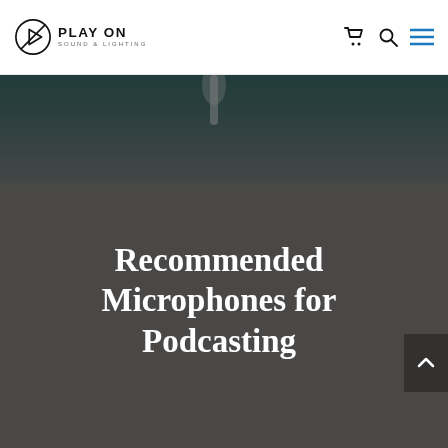[Figure (logo): Play On Sound & Lighting logo with circular triangle icon and text]
[Figure (photo): Dark background hero image with microphone visible at top, overlaid with dark gray semi-transparent gradient. Contains the page title 'Recommended Microphones for Podcasting' in white serif font.]
Recommended Microphones for Podcasting